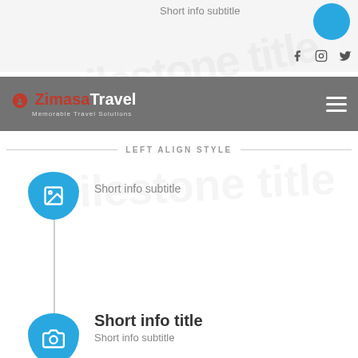Short info subtitle
[Figure (screenshot): Social media icons: Facebook, Instagram, Twitter]
[Figure (logo): Zimasa Travel logo with Africa map icon and tagline 'Memorable Travel Solutions' on gray navigation bar with hamburger menu]
LEFT ALIGN STYLE
[Figure (illustration): Blue half-circle icon with image placeholder icon]
Short info subtitle
Short info title
Short info subtitle